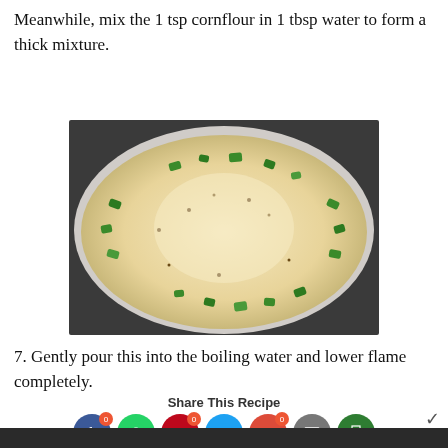Meanwhile, mix the 1 tsp cornflour in 1 tbsp water to form a thick mixture.
[Figure (photo): A white pan/bowl containing a creamy sauce with chopped green peppers and spices arranged around the edges.]
7. Gently pour this into the boiling water and lower flame completely.
Share This Recipe
[Figure (photo): Partial bottom image strip showing a food item.]